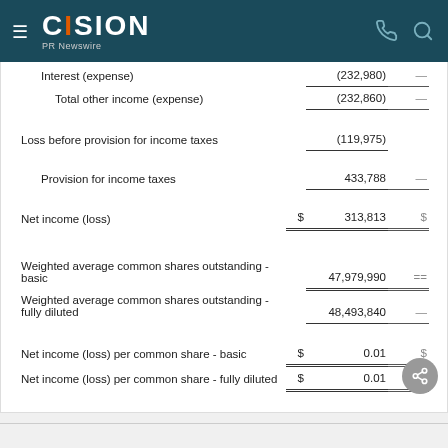CISION PR Newswire
|  |  |  |
| --- | --- | --- |
| Interest (expense) |  | (232,980) |
| Total other income (expense) |  | (232,860) |
| Loss before provision for income taxes |  | (119,975) |
| Provision for income taxes |  | 433,788 |
| Net income (loss) | $ | 313,813 |
| Weighted average common shares outstanding - basic |  | 47,979,990 |
| Weighted average common shares outstanding - fully diluted |  | 48,493,840 |
| Net income (loss) per common share - basic | $ | 0.01 |
| Net income (loss) per common share - fully diluted | $ | 0.01 |